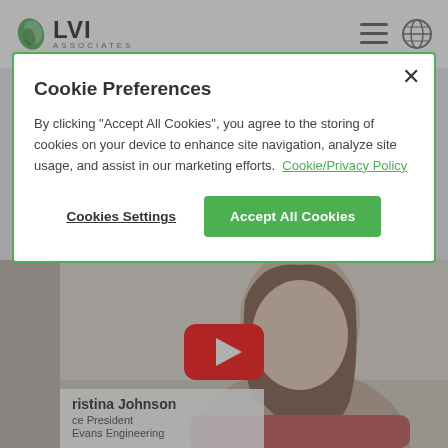[Figure (screenshot): LVI Associates website header with green leaf logo, LVI ASSOCIATES text, hamburger menu icon, and globe icon]
[Figure (screenshot): Cookie preferences modal dialog with close button, title, body text with Cookie/Privacy Policy link, Cookies Settings button, and Accept All Cookies green button]
Cookie Preferences
By clicking "Accept All Cookies", you agree to the storing of cookies on your device to enhance site navigation, analyze site usage, and assist in our marketing efforts.  Cookie/Privacy Policy
[Figure (screenshot): Video thumbnail showing a woman with long brown hair, YouTube play button overlay, and name card showing 'ristina Johnson, ce President, Evans Engineering']